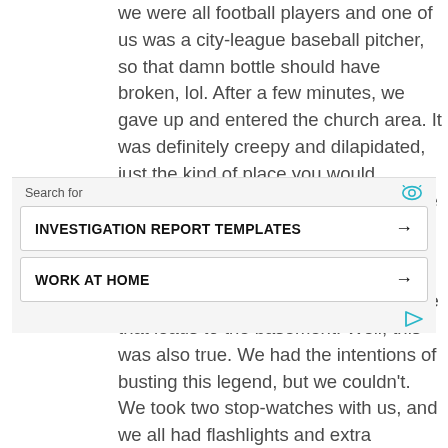we were all football players and one of us was a city-league baseball pitcher, so that damn bottle should have broken, lol. After a few minutes, we gave up and entered the church area. It was definitely creepy and dilapidated, just the kind of place you would imagine as crazy-mad haunted. But we weren't there for ghosts, lol.
The second 'myth' is that one could never reach the bottom of the staircase that leads to the basement. Well, this was also true. We had the intentions of busting this legend, but we couldn't. We took two stop-watches with us, and we all had flashlights and extra batteries, just in case. We started the first watch at the top of the stairs and started down. After 45 minutes we decided that it was becoming ridiculous, so we stopped. It shouldn't have taken more than a minute to reach
Search for
INVESTIGATION REPORT TEMPLATES →
WORK AT HOME →